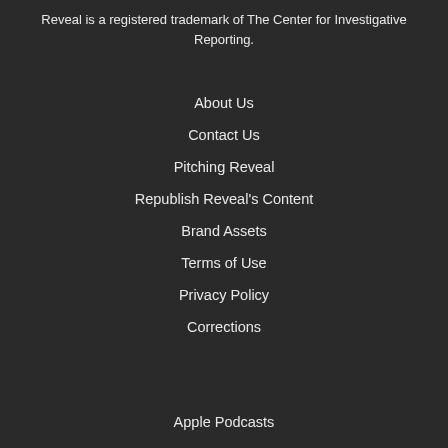Reveal is a registered trademark of The Center for Investigative Reporting.
About Us
Contact Us
Pitching Reveal
Republish Reveal's Content
Brand Assets
Terms of Use
Privacy Policy
Corrections
Apple Podcasts